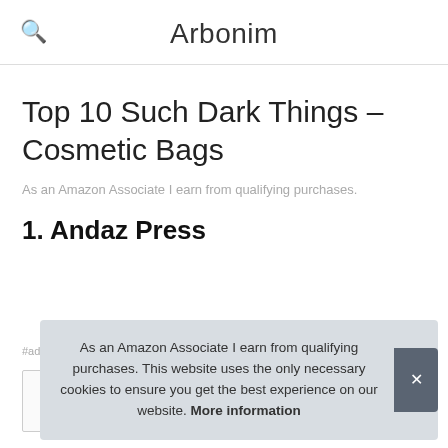Arbonim
Top 10 Such Dark Things – Cosmetic Bags
As an Amazon Associate I earn from qualifying purchases.
1. Andaz Press
#ad
As an Amazon Associate I earn from qualifying purchases. This website uses the only necessary cookies to ensure you get the best experience on our website. More information